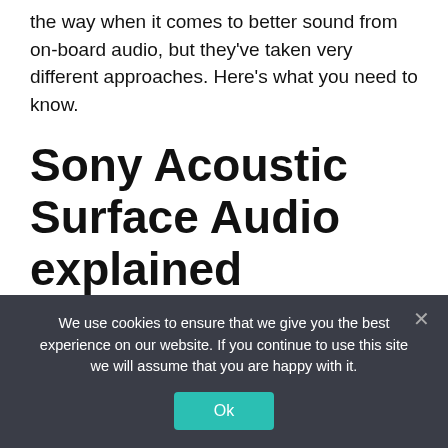the way when it comes to better sound from on-board audio, but they've taken very different approaches. Here's what you need to know.
Sony Acoustic Surface Audio explained
Sony OLED screens use Acoustic Surface audio technology to deliver immersive sound
We use cookies to ensure that we give you the best experience on our website. If you continue to use this site we will assume that you are happy with it.